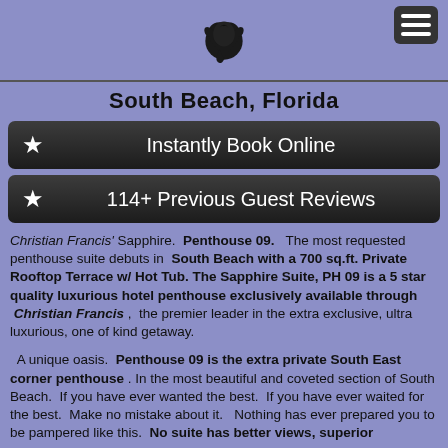South Beach, Florida
South Beach, Florida
Instantly Book Online
114+ Previous Guest Reviews
Christian Francis' Sapphire. Penthouse 09. The most requested penthouse suite debuts in South Beach with a 700 sq.ft. Private Rooftop Terrace w/ Hot Tub. The Sapphire Suite, PH 09 is a 5 star quality luxurious hotel penthouse exclusively available through Christian Francis , the premier leader in the extra exclusive, ultra luxurious, one of kind getaway.
A unique oasis. Penthouse 09 is the extra private South East corner penthouse . In the most beautiful and coveted section of South Beach. If you have ever wanted the best. If you have ever waited for the best. Make no mistake about it. Nothing has ever prepared you to be pampered like this. No suite has better views, superior